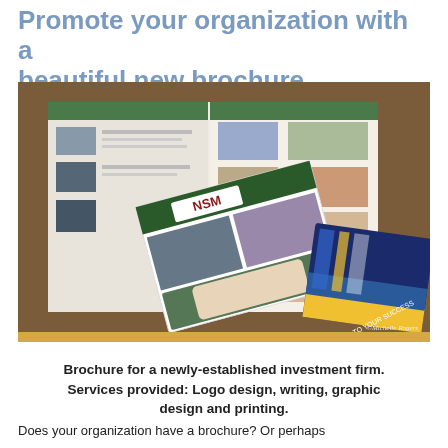Promote your organization with a beautiful new brochure
[Figure (photo): Photo of multiple brochures spread out on a wooden table, including an NSM branded brochure and others with people and colorful designs. Photo credit: ©Michelle Rogers]
Brochure for a newly-established investment firm. Services provided: Logo design, writing, graphic design and printing.
Does your organization have a brochure? Or perhaps